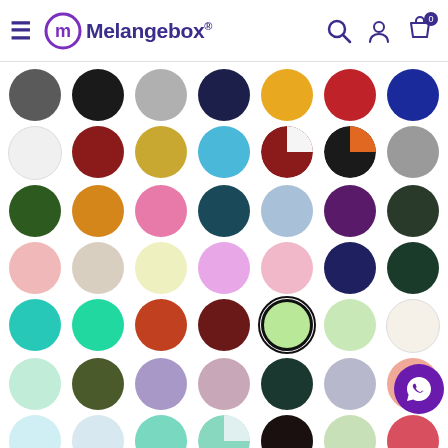[Figure (screenshot): Melangebox website header with hamburger menu, logo, search, account, and cart icons]
[Figure (infographic): Color swatch selector grid showing multiple rows of colored circles representing fabric/product color options, with one light green circle selected (outlined in black) and a WhatsApp chat button overlay]